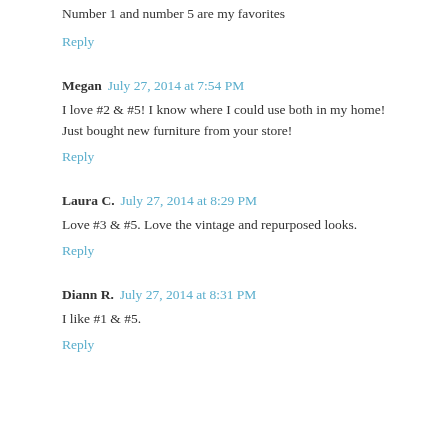Number 1 and number 5 are my favorites
Reply
Megan  July 27, 2014 at 7:54 PM
I love #2 & #5! I know where I could use both in my home! Just bought new furniture from your store!
Reply
Laura C.  July 27, 2014 at 8:29 PM
Love #3 & #5. Love the vintage and repurposed looks.
Reply
Diann R.  July 27, 2014 at 8:31 PM
I like #1 & #5.
Reply